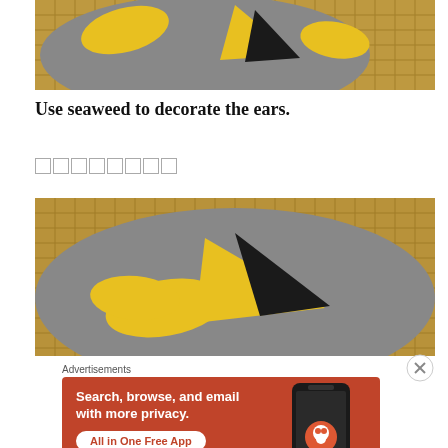[Figure (photo): Top-down view of a gray plate with yellow and black-tipped food items resembling cat ears, on a woven mat background. Top portion cropped.]
Use seaweed to decorate the ears.
□□□□□□□□
[Figure (photo): Close-up of a gray plate with yellow and dark-tipped food pieces resembling ears, on a woven mat background.]
Advertisements
[Figure (other): DuckDuckGo advertisement: 'Search, browse, and email with more privacy. All in One Free App' with DuckDuckGo logo on a phone mockup, orange background.]